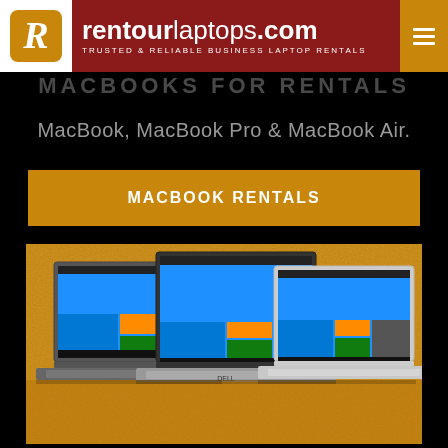rentourlaptops.com — TRUSTED & RELIABLE BUSINESS LAPTOP RENTALS
MACBOOKS FOR RENTALS
MacBook, MacBook Pro & MacBook Air.
MACBOOK RENTALS
[Figure (photo): Three Windows laptops (Lenovo, Dell, HP) displayed on a golden/orange textured background]